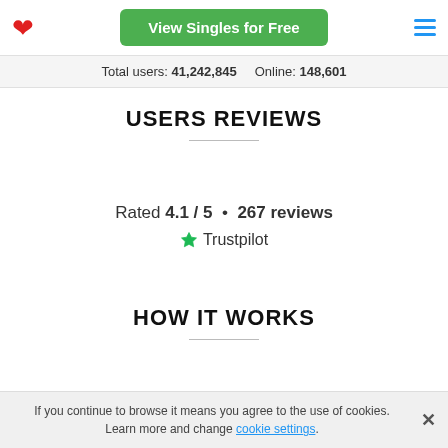View Singles for Free
Total users: 41,242,845   Online: 148,601
USERS REVIEWS
Rated 4.1 / 5  •  267 reviews
★ Trustpilot
HOW IT WORKS
If you continue to browse it means you agree to the use of cookies. Learn more and change cookie settings.